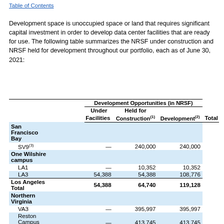Table of Contents
Development space is unoccupied space or land that requires significant capital investment in order to develop data center facilities that are ready for use. The following table summarizes the NRSF under construction and NRSF held for development throughout our portfolio, each as of June 30, 2021:
| Facilities | Under Construction(1) | Held for Development(2) | Total |
| --- | --- | --- | --- |
| San Francisco Bay |  |  |  |
| SV9(3) | — | 240,000 | 240,000 |
| One Wilshire campus |  |  |  |
| LA1 | — | 10,352 | 10,352 |
| LA3 | 54,388 | 54,388 | 108,776 |
| Los Angeles Total | 54,388 | 64,740 | 119,128 |
| Northern Virginia |  |  |  |
| VA3 | — | 395,997 | 395,997 |
| Reston Campus Expansion(3) | — | 413,745 | 413,745 |